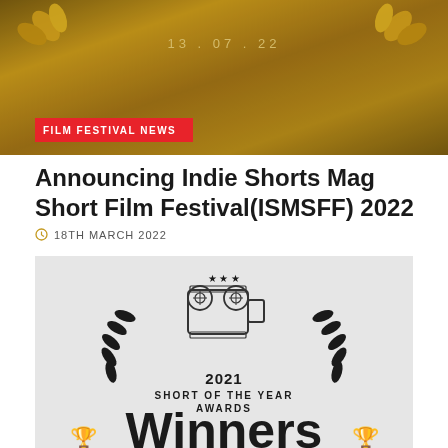[Figure (photo): Golden background film festival banner image with date 13.07.22 and gold leaf decorations, with a red badge reading FILM FESTIVAL NEWS]
Announcing Indie Shorts Mag Short Film Festival(ISMSFF) 2022
18TH MARCH 2022
[Figure (illustration): Light grey background image showing 2021 Short of the Year Awards logo with film camera and laurel wreath, and Winners text with trophy icons at the bottom]